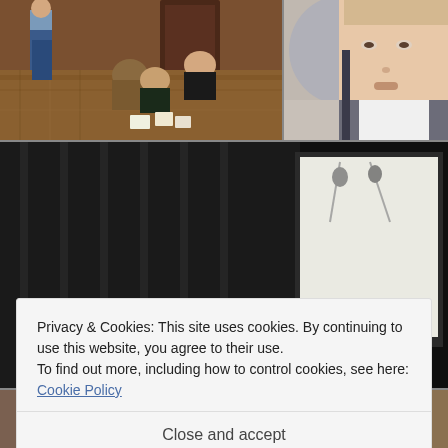[Figure (photo): Group of people sitting on patterned carpet floor playing a card/board game, with one person standing. Indoor convention setting with dark wood doors in background.]
[Figure (photo): Close-up selfie of a young man with light hair wearing a white shirt and dark vest/backpack, with a large grey balloon visible behind him.]
[Figure (photo): Dark room with black curtains and a large illuminated projection screen. A person in a red top is seated and gesturing toward the screen.]
Privacy & Cookies: This site uses cookies. By continuing to use this website, you agree to their use.
To find out more, including how to control cookies, see here: Cookie Policy
Close and accept
[Figure (photo): Partial bottom row photo - left]
[Figure (photo): Partial bottom row photo - center]
[Figure (photo): Partial bottom row photo - right]